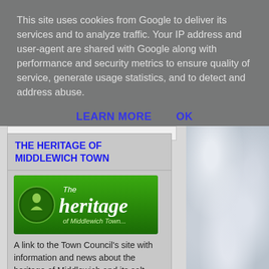This site uses cookies from Google to deliver its services and to analyze traffic. Your IP address and user-agent are shared with Google along with performance and security metrics to ensure quality of service, generate usage statistics, and to detect and address abuse.
LEARN MORE   OK
[Figure (other): White/grey snowy or icy texture filling the right column of the page]
THE HERITAGE OF MIDDLEWICH TOWN
[Figure (logo): Green banner logo reading 'The heritage of Middlewich Town...' with a circular emblem on the left]
A link to the Town Council's site with information and news about the heritage of Middlewich and its salt town neighbours